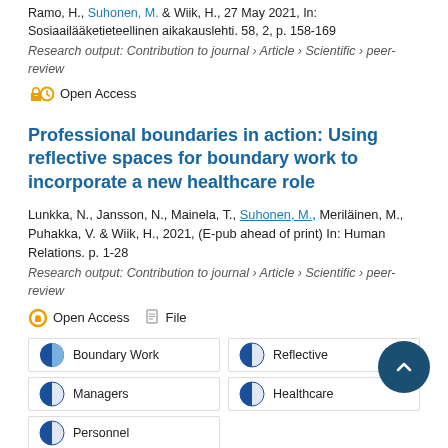Ramo, H., Suhonen, M. & Wiik, H., 27 May 2021, In: Sosiaailääketieteellinen aikakauslehti. 58, 2, p. 158-169
Research output: Contribution to journal › Article › Scientific › peer-review
Open Access
Professional boundaries in action: Using reflective spaces for boundary work to incorporate a new healthcare role
Lunkka, N., Jansson, N., Mainela, T., Suhonen, M., Meriläinen, M., Puhakka, V. & Wiik, H., 2021, (E-pub ahead of print) In: Human Relations. p. 1-28
Research output: Contribution to journal › Article › Scientific › peer-review
Open Access   File
Boundary Work
Reflective
Managers
Healthcare
Personnel